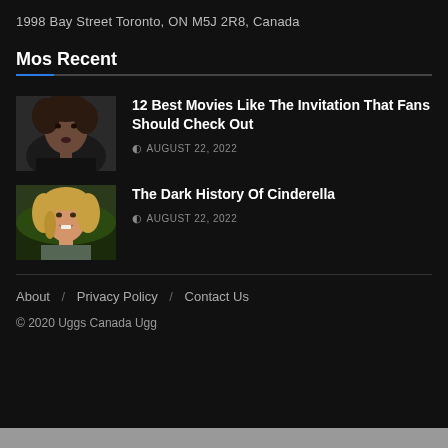1998 Bay Street Toronto, ON M5J 2R8, Canada
Mos Recent
[Figure (photo): Thumbnail image of a woman with curly dark hair, dark background]
12 Best Movies Like The Invitation That Fans Should Check Out
AUGUST 22, 2022
[Figure (photo): Thumbnail image of a blonde woman smiling, outdoor background]
The Dark History Of Cinderella
AUGUST 22, 2022
About / Privacy Policy / Contact Us
© 2020 Uggs Canada Ugg